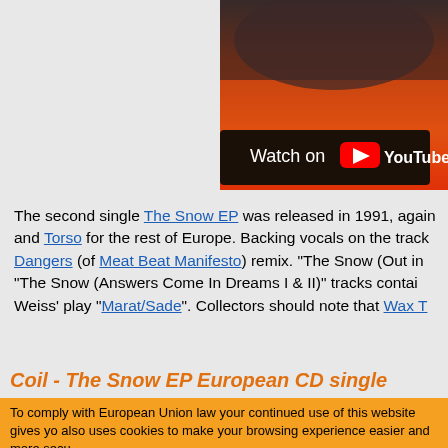[Figure (screenshot): YouTube video embed thumbnail showing an orange/red abstract background with a 'Watch on YouTube' button overlay in the lower portion]
The second single The Snow EP was released in 1991, again and Torso for the rest of Europe. Backing vocals on the track Dangers (of Meat Beat Manifesto) remix. "The Snow (Out in "The Snow (Answers Come In Dreams I & II)" tracks contai Weiss' play "Marat/Sade". Collectors should note that Wax T
Coil - The Snow EP European CD single
To comply with European Union law your continued use of this website gives yo also uses cookies to make your browsing experience easier and more secu